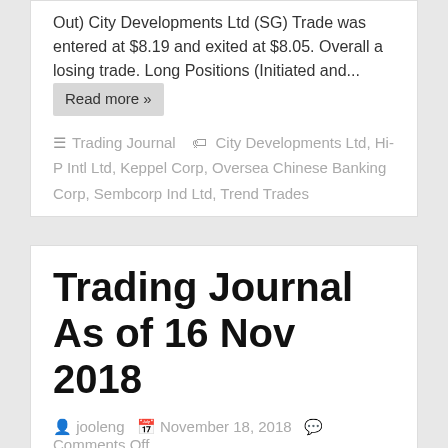Out) City Developments Ltd (SG) Trade was entered at $8.19 and exited at $8.05. Overall a losing trade. Long Positions (Initiated and...
Trading Journal | City Developments Ltd, Hi-P Intl Ltd, Keppel Corp, Oversea Chinese Banking Corp, Sembcorp Ind Ltd, Trend Trades
Trading Journal As of 16 Nov 2018
jooleng  November 18, 2018  Comments Off